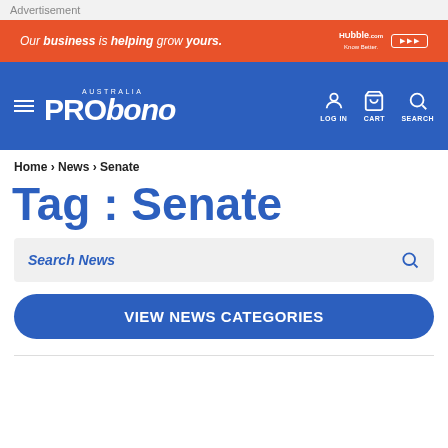Advertisement
[Figure (infographic): Orange advertisement banner: 'Our business is helping grow yours.' Hubble logo on right with a button.]
[Figure (logo): Pro Bono Australia navigation bar with hamburger menu, PRObono logo, LOG IN, CART, SEARCH icons]
Home > News > Senate
Tag : Senate
Search News
VIEW NEWS CATEGORIES